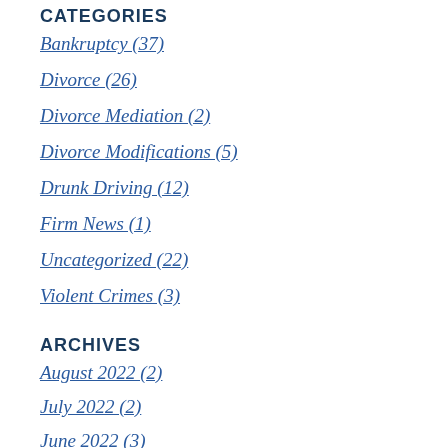CATEGORIES
Bankruptcy (37)
Divorce (26)
Divorce Mediation (2)
Divorce Modifications (5)
Drunk Driving (12)
Firm News (1)
Uncategorized (22)
Violent Crimes (3)
ARCHIVES
August 2022 (2)
July 2022 (2)
June 2022 (3)